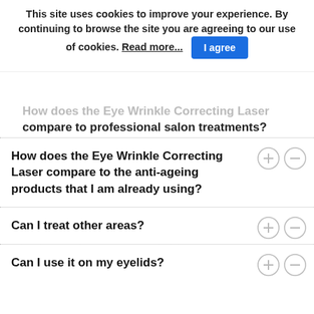This site uses cookies to improve your experience. By continuing to browse the site you are agreeing to our use of cookies. Read more... [I agree]
How does the Eye Wrinkle Correcting Laser compare to professional salon treatments?
How does the Eye Wrinkle Correcting Laser compare to the anti-ageing products that I am already using?
Can I treat other areas?
Can I use it on my eyelids?